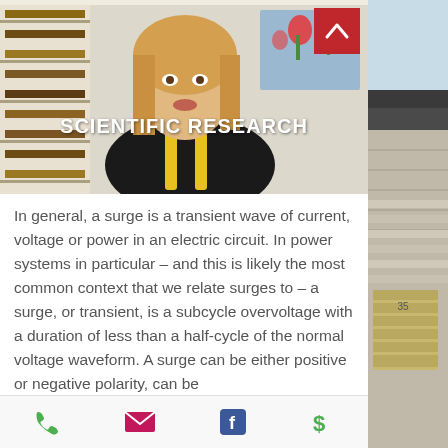[Figure (photo): Video thumbnail showing a woman with blonde hair speaking, with bookshelves behind her and a painting of flowers. Overlay text reads SCIENTIFIC RESEARCH. Red button with up arrow in top-right corner.]
In general, a surge is a transient wave of current, voltage or power in an electric circuit.  In power systems in particular – and this is likely the most common context that we relate surges to – a surge, or transient, is a subcycle overvoltage with a duration of less than a half-cycle of the normal voltage waveform.  A surge can be either positive or negative polarity, can be
[Figure (photo): Partial view of a residential building exterior with garage, seen on the right side of the page.]